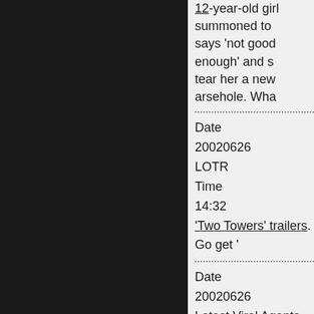12-year-old girl summoned to says 'not good enough' and s tear her a new arsehole. Wha
Date
20020626
LOTR
Time
14:32
'Two Towers' trailers. Go get '
Date
20020626
Latest Viral Agents
Time
14:51
Car, cars, cars, cars, cars!

Smart Getatway is a nice look competition.

This Holden game (see the lin this exact execution plugging the previous incarnation beca